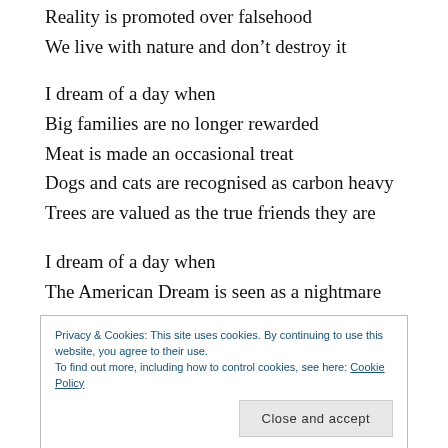Reality is promoted over falsehood
We live with nature and don’t destroy it
I dream of a day when
Big families are no longer rewarded
Meat is made an occasional treat
Dogs and cats are recognised as carbon heavy
Trees are valued as the true friends they are
I dream of a day when
The American Dream is seen as a nightmare
Privacy & Cookies: This site uses cookies. By continuing to use this website, you agree to their use. To find out more, including how to control cookies, see here: Cookie Policy
I dream of a day when